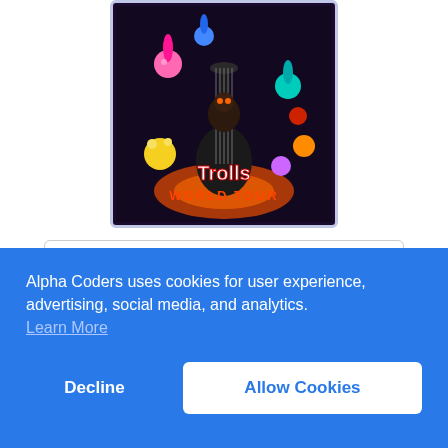[Figure (illustration): Trolls World Tour animated movie poster featuring colorful troll characters and a guitar against a dark background with the title text 'Trolls World Tour']
View h3video1RavenShadow's Movie Activity
Has Beaten
Alpha Coders uses cookies for user experience, advertising, social media, and analytics.
Learn More
Decline
Allow Cookies